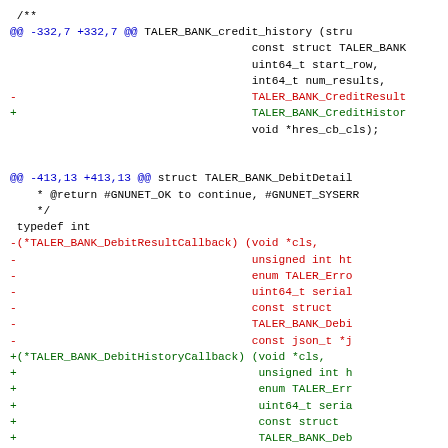[Figure (screenshot): Code diff showing changes to TALER_BANK_credit_history and TALER_BANK_DebitDetail functions. Red lines show removed code, green lines show added code, blue lines show diff headers.]